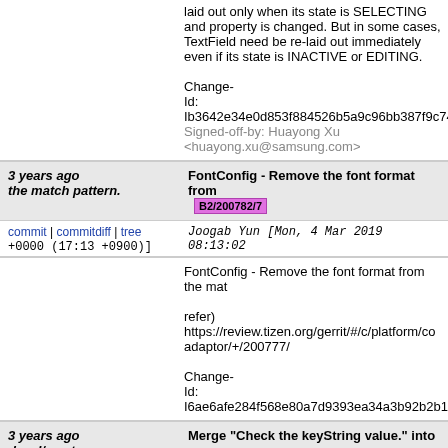laid out only when its state is SELECTING and property is changed. But in some cases, TextField need be re-laid out immediately even if its state is INACTIVE or EDITING.
Change-Id: Ib3642e34e0d853f884526b5a9c96bb387f9c74
Signed-off-by: Huayong Xu <huayong.xu@samsung.com>
3 years ago  FontConfig - Remove the font format from the match pattern.  B2/200782/7
commit | commitdiff | tree  Joogab Yun [Mon, 4 Mar 2019 08:13:02 +0000 (17:13 +0900)]
FontConfig - Remove the font format from the mat...
refer) https://review.tizen.org/gerrit/#/c/platform/co...adaptor/+/200777/
Change-Id: I6ae6afe284f568e80a7d9393ea34a3b92b2b10...
3 years ago  Merge "Check the keyString value." into devel/master
commit | commitdiff | tree  joogab yun [Mon, 4 Mar 2019 04:32:58 +0000 (04:32 +0000)]